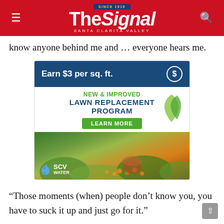The Signal — Santa Clarita Valley
know anyone behind me and … everyone hears me.
[Figure (infographic): SCV Water advertisement: Earn $3 per sq. ft. New & Improved Lawn Replacement Program. Learn More button. Photo of drought-tolerant landscaping with ornamental grasses and flowers. SCV Water logo.]
“Those moments (when) people don’t know you, you have to suck it up and just go for it.”